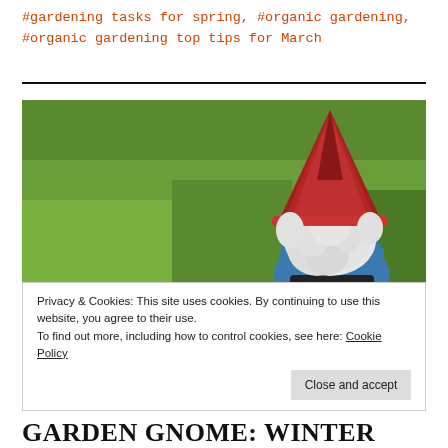#gardening tasks for spring, #organic gardening, #organic gardening top tips for March
[Figure (photo): Garden gnome with red pointed hat and white beard, wearing blue outfit, viewed from behind against a green grassy background]
Privacy & Cookies: This site uses cookies. By continuing to use this website, you agree to their use.
To find out more, including how to control cookies, see here: Cookie Policy
Close and accept
GARDEN GNOME: WINTER